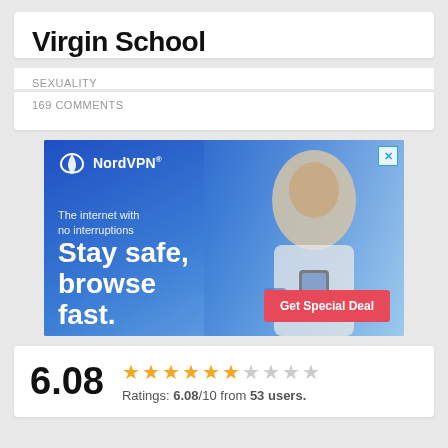Virgin School
SEXUALITY
169 COMMENTS
[Figure (photo): NordVPN advertisement banner showing a woman using a smartphone with blue background. Text reads: 'The internet with no interruptions. Stay safe, browse fast.' with a 'Get Special Deal' button.]
6.08  Ratings: 6.08/10 from 53 users.